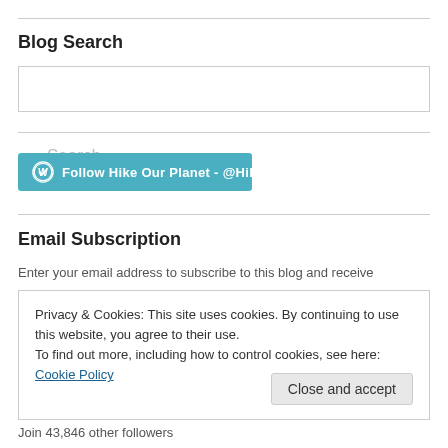Blog Search
Search
[Figure (other): Follow button for Hike Our Planet @HikeOurPlanet on WordPress]
Email Subscription
Enter your email address to subscribe to this blog and receive
Privacy & Cookies: This site uses cookies. By continuing to use this website, you agree to their use.
To find out more, including how to control cookies, see here: Cookie Policy
Close and accept
Join 43,846 other followers